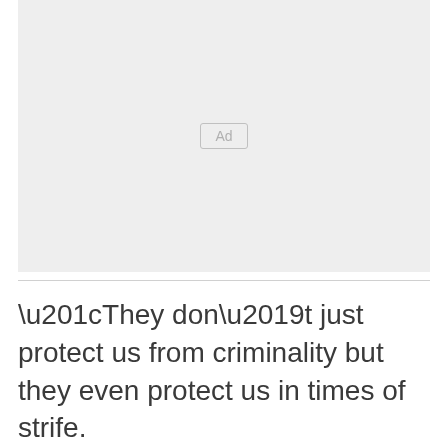[Figure (other): Advertisement placeholder box with 'Ad' label centered]
“They don’t just protect us from criminality but they even protect us in times of strife.
“To the family, do know that we grieve with you in this difficult moment of grief and find